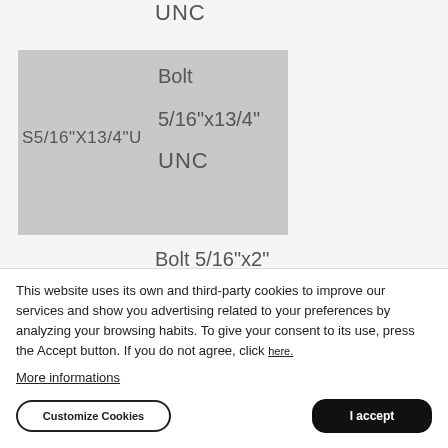UNC
[Figure (schematic): Gray box placeholder image for bolt S5/16"X13/4"U with label showing Bolt 5/16"x13/4" UNC]
Bolt 5/16"x2"
This website uses its own and third-party cookies to improve our services and show you advertising related to your preferences by analyzing your browsing habits. To give your consent to its use, press the Accept button. If you do not agree, click here.
More informations
Customize Cookies
I accept